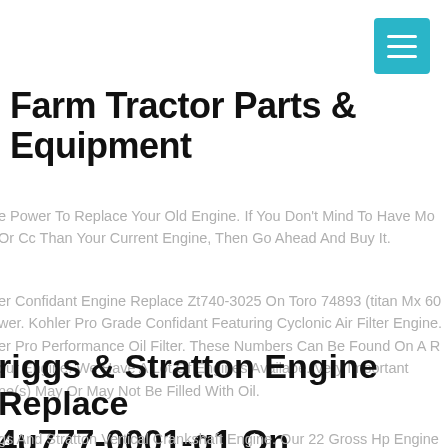[Figure (other): Teal/cyan hamburger menu button in top-right corner]
Farm Tractor Parts & Equipment
e Power To Replace Your Old Engine. If You Don't Mind To Have Mo Or Cc Than Your Current Engine, Then Go Ahead And Buy It.
er Confidant Engine Replace Zt740-3025 On Toro 74893 (titan Mx 60 wer. Kohler Pro Grade Confidant Featuring Cyclonic Air Filter Engine. er Pro Performance Oil Filter. These Numbers Can Be Found On A R our Engine. We Have A Lot Of Engines Availabe. Very Important ne(s) May Or May Not Be Filled With Oil.
riggs & Stratton Engine Replace 4u777-0001-g1 On Simplicity 91331-01 Mower
gs And Stratton Vertical Crankshaft Engine. Our 22 Gross Hp Engine